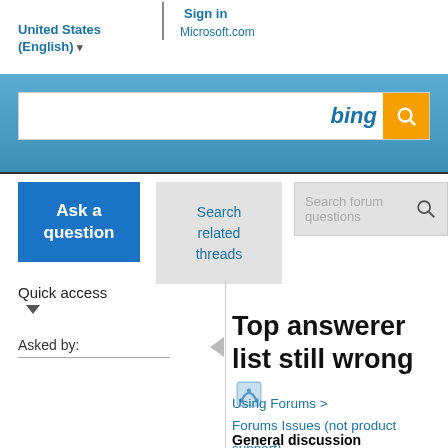Sign in | Microsoft.com
United States (English)
[Figure (screenshot): Bing search bar with orange search button on blue gradient background]
Ask a question
Search related threads
Search forum questions
Quick access
Asked by:
Top answerer list still wrong
Using Forums > Forums Issues (not product support)
General discussion